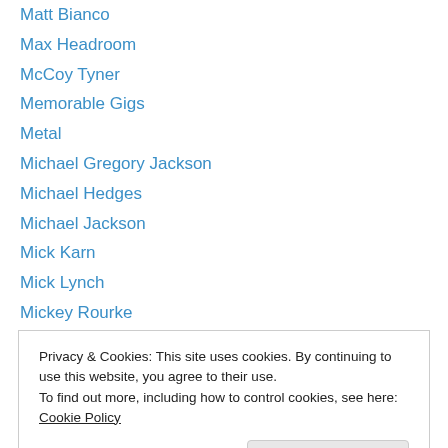Matt Bianco
Max Headroom
McCoy Tyner
Memorable Gigs
Metal
Michael Gregory Jackson
Michael Hedges
Michael Jackson
Mick Karn
Mick Lynch
Mickey Rourke
Mike Leigh
Mike Stern
Privacy & Cookies: This site uses cookies. By continuing to use this website, you agree to their use. To find out more, including how to control cookies, see here: Cookie Policy
Movie Moments